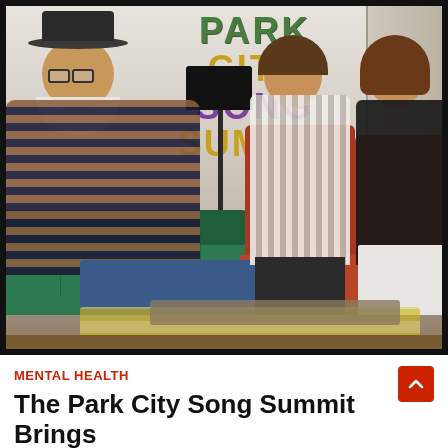[Figure (photo): Three people sitting in a lounge area. A man with a white beard and hat sits on a green velvet sofa on the left. Two women sit in orange chairs in the center and right. Behind them on the wall is the 'Park City Song Summit' logo in colorful text. A floor lamp is visible.]
MENTAL HEALTH
The Park City Song Summit Brings